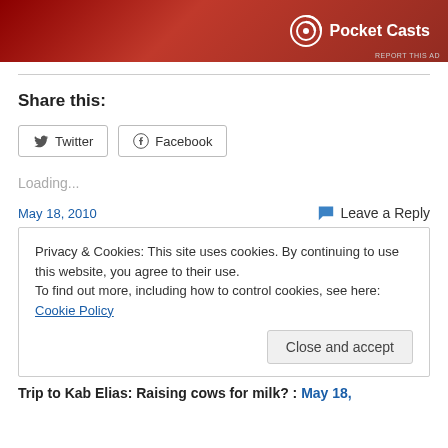[Figure (logo): Pocket Casts advertisement banner with red gradient background and Pocket Casts logo and text]
REPORT THIS AD
Share this:
Twitter  Facebook
Loading...
May 18, 2010
Leave a Reply
Privacy & Cookies: This site uses cookies. By continuing to use this website, you agree to their use.
To find out more, including how to control cookies, see here: Cookie Policy
Close and accept
Trip to Kab Elias: Raising cows for milk? : May 18,